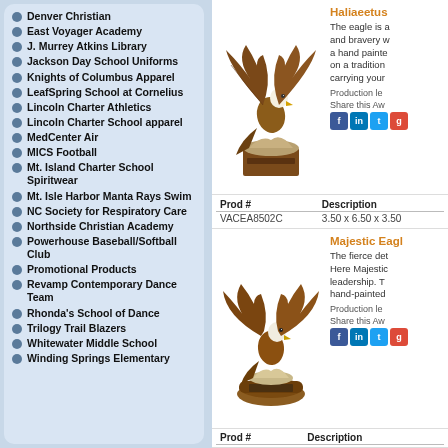Denver Christian
East Voyager Academy
J. Murrey Atkins Library
Jackson Day School Uniforms
Knights of Columbus Apparel
LeafSpring School at Cornelius
Lincoln Charter Athletics
Lincoln Charter School apparel
MedCenter Air
MICS Football
Mt. Island Charter School Spiritwear
Mt. Isle Harbor Manta Rays Swim
NC Society for Respiratory Care
Northside Christian Academy
Powerhouse Baseball/Softball Club
Promotional Products
Revamp Contemporary Dance Team
Rhonda's School of Dance
Trilogy Trail Blazers
Whitewater Middle School
Winding Springs Elementary
Haliaeetus
The eagle is a and bravery w a hand painte on a tradition carrying your
Production le
Share this Aw
| Prod # | Description |
| --- | --- |
| VACEA8502C | 3.50 x 6.50 x 3.50 |
Majestic Eagl
The fierce det Here Majestic leadership. T hand-painted
Production le
Share this Aw
| Prod # | Description |
| --- | --- |